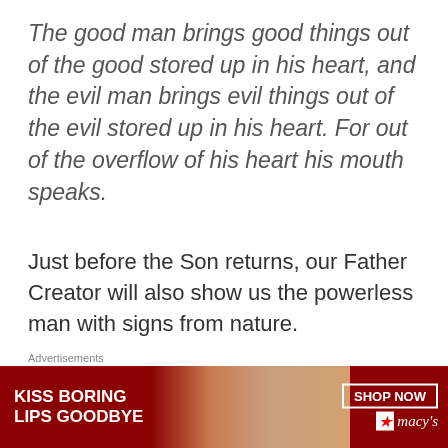The good man brings good things out of the good stored up in his heart, and the evil man brings evil things out of the evil stored up in his heart. For out of the overflow of his heart his mouth speaks.
Just before the Son returns, our Father Creator will also show us the powerless man with signs from nature.
Tsunamis,
[Figure (photo): Partial photo of two people, partially obscured by advertisement overlay]
Advertisements
[Figure (photo): Macy's advertisement banner: KISS BORING LIPS GOODBYE with model photo and SHOP NOW button with Macy's star logo]